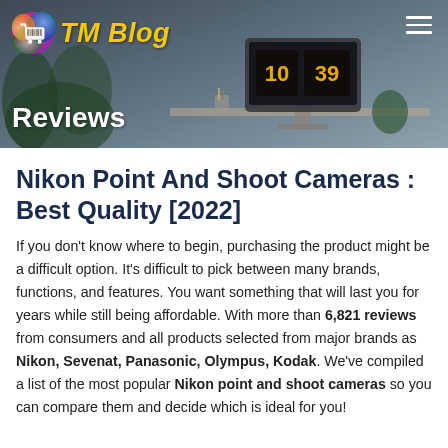[Figure (photo): Website header banner for TM Blog showing a desk with a monitor displaying 10:39, plants, and office items in the background. Includes a colorful shopping cart logo and 'TM Blog' text in yellow italic font, a hamburger menu icon on the right, and 'Reviews' label in white at the bottom left.]
Nikon Point And Shoot Cameras : Best Quality [2022]
If you don't know where to begin, purchasing the product might be a difficult option. It's difficult to pick between many brands, functions, and features. You want something that will last you for years while still being affordable. With more than 6,821 reviews from consumers and all products selected from major brands as Nikon, Sevenat, Panasonic, Olympus, Kodak. We've compiled a list of the most popular Nikon point and shoot cameras so you can compare them and decide which is ideal for you!